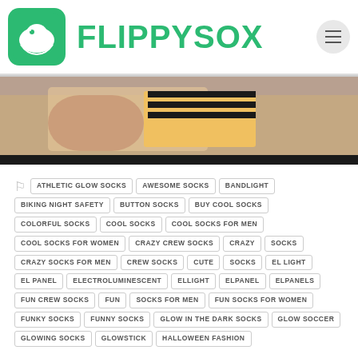FLIPPYSOX
[Figure (photo): Close-up photo of hands holding a yellow and black striped sock against a white surface]
ATHLETIC GLOW SOCKS
AWESOME SOCKS
BANDLIGHT
BIKING NIGHT SAFETY
BUTTON SOCKS
BUY COOL SOCKS
COLORFUL SOCKS
COOL SOCKS
COOL SOCKS FOR MEN
COOL SOCKS FOR WOMEN
CRAZY CREW SOCKS
CRAZY SOCKS
CRAZY SOCKS FOR MEN
CREW SOCKS
CUTE SOCKS
EL LIGHT
EL PANEL
ELECTROLUMINESCENT
ELLIGHT
ELPANEL
ELPANELS
FUN CREW SOCKS
FUN SOCKS FOR MEN
FUN SOCKS FOR WOMEN
FUNKY SOCKS
FUNNY SOCKS
GLOW IN THE DARK SOCKS
GLOW SOCCER
GLOWING SOCKS
GLOWSTICK
HALLOWEEN FASHION